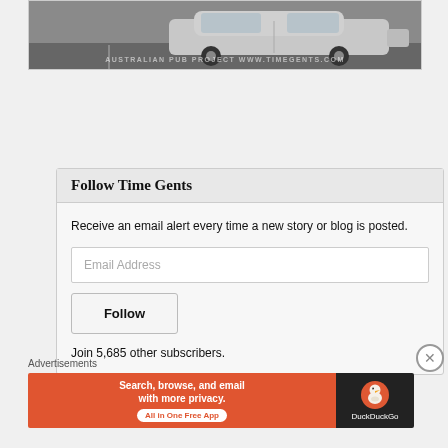[Figure (photo): Partial view of a car in a parking lot with watermark text 'AUSTRALIAN PUB PROJECT WWW.TIMEGENTS.COM']
Follow Time Gents
Receive an email alert every time a new story or blog is posted.
Email Address
Follow
Join 5,685 other subscribers.
Advertisements
[Figure (screenshot): DuckDuckGo advertisement banner: 'Search, browse, and email with more privacy. All in One Free App' with DuckDuckGo logo on right side]